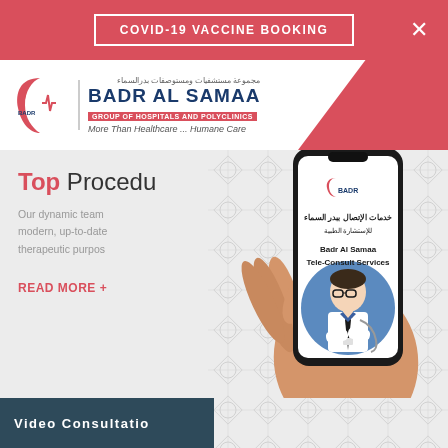COVID-19 VACCINE BOOKING
[Figure (logo): Badr Al Samaa Group of Hospitals and Polyclinics logo with Arabic text and tagline 'More Than Healthcare ... Humane Care']
Top Procedu
Our dynamic team modern, up-to-date therapeutic purpos
READ MORE +
[Figure (illustration): Hand holding a smartphone displaying Badr Al Samaa Tele-Consult Services app with a doctor illustration, Arabic text: خدمات الإتصال ببدر السماء للإستشارة الطبية, and English text: Badr Al Samaa Tele-Consult Services]
Video Consultatio